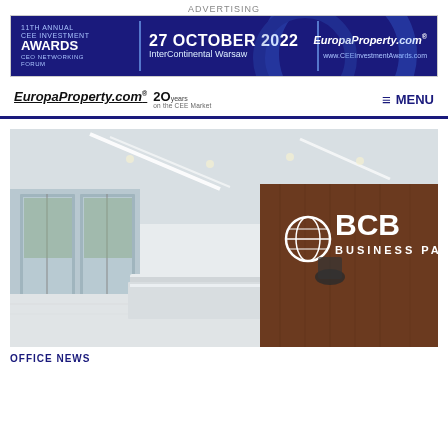ADVERTISING
[Figure (photo): CEE Investment Awards banner ad: 11th Annual CEE Investment Awards & CEO Networking Forum, 27 October 2022, InterContinental Warsaw. EuropaProperty.com logo. www.CEEInvestmentAwards.com]
EuropaProperty.com® 20 years on the CEE Market   MENU
[Figure (photo): Interior photo of BCB Business Park reception area: modern white reception desk, wood-paneled wall with BCB Business Park logo, light-colored floor, glass entrance doors, white ceiling with linear lighting.]
OFFICE NEWS